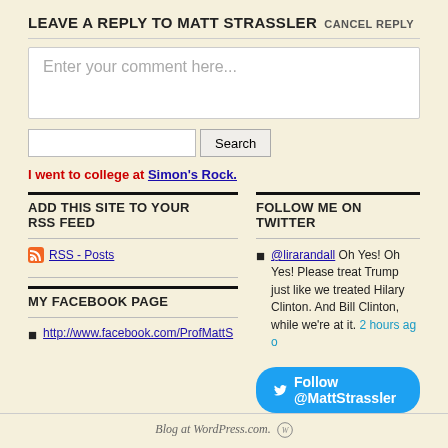LEAVE A REPLY TO MATT STRASSLER CANCEL REPLY
Enter your comment here...
Search
I went to college at Simon's Rock.
ADD THIS SITE TO YOUR RSS FEED
RSS - Posts
MY FACEBOOK PAGE
http://www.facebook.com/ProfMattS
FOLLOW ME ON TWITTER
@lirarandall Oh Yes! Oh Yes! Please treat Trump just like we treated Hilary Clinton. And Bill Clinton, while we're at it. 2 hours ago
Follow @MattStrassler
Blog at WordPress.com.